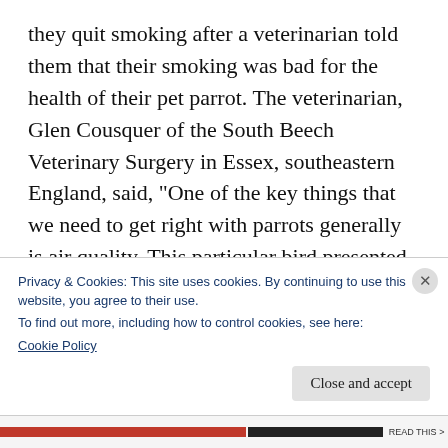they quit smoking after a veterinarian told them that their smoking was bad for the health of their pet parrot. The veterinarian, Glen Cousquer of the South Beech Veterinary Surgery in Essex, southeastern England, said, “One of the key things that we need to get right with parrots generally is air quality. This particular bird presented with very severe respiratory problems. The owners were instructed to do everything they could to improve the bird’s environment. I think I must
Privacy & Cookies: This site uses cookies. By continuing to use this website, you agree to their use.
To find out more, including how to control cookies, see here:
Cookie Policy
Close and accept